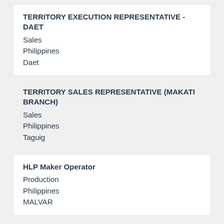TERRITORY EXECUTION REPRESENTATIVE - DAET
Sales
Philippines
Daet
TERRITORY SALES REPRESENTATIVE (MAKATI BRANCH)
Sales
Philippines
Taguig
HLP Maker Operator
Production
Philippines
MALVAR
SALES DRIVER - LEGAZPI
Sales
Philippines